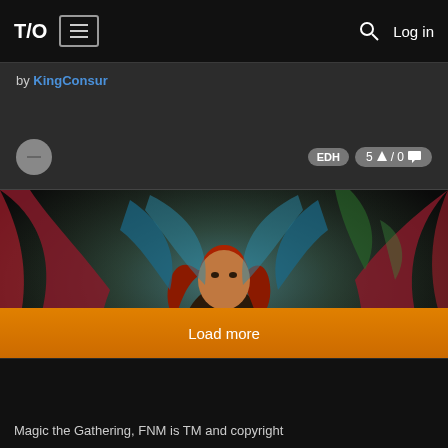T/O  ☰  🔍 Log in
by KingConsul
EDH  5 ↑ / 0 💬
[Figure (photo): Fantasy artwork showing a woman with red hair and colorful wings, extending her fist forward against a dark background]
Buh!
by Crivaro
EDH  70 ↑ / 8 💬
Load more
Magic the Gathering, FNM is TM and copyright